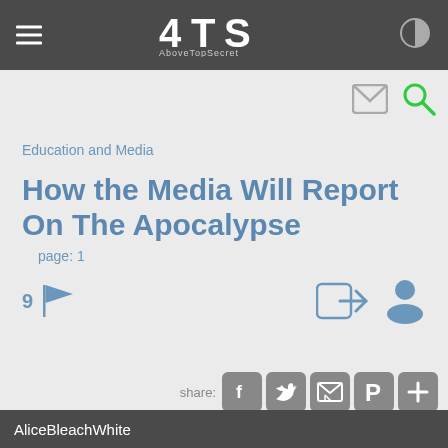ATS AboveTopSecret
Education and Media
How the Media Will Report On The Apocalypse
page: 1
9
share:
AliceBleachWhite